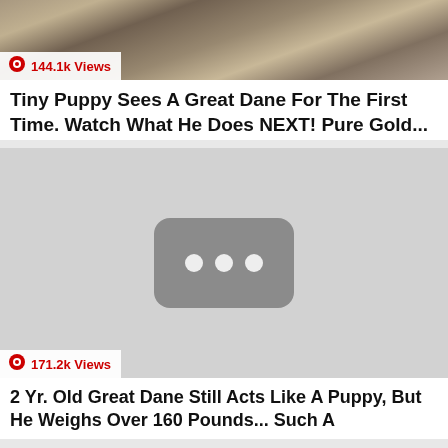[Figure (photo): Thumbnail image showing gravel/rocks surface, with a views badge overlay showing 144.1k Views]
Tiny Puppy Sees A Great Dane For The First Time. Watch What He Does NEXT! Pure Gold...
[Figure (screenshot): Video thumbnail placeholder with YouTube-style dark rounded rectangle icon with three white dots, views badge showing 171.2k Views]
2 Yr. Old Great Dane Still Acts Like A Puppy, But He Weighs Over 160 Pounds... Such A